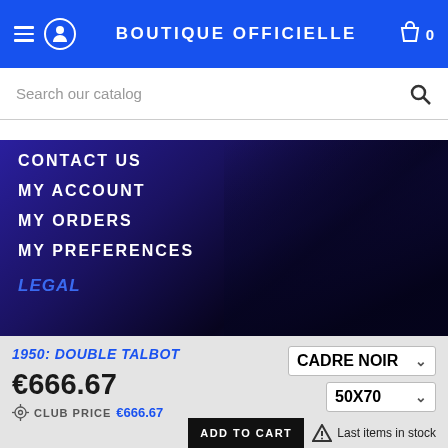BOUTIQUE OFFICIELLE
Search our catalog
CONTACT US
MY ACCOUNT
MY ORDERS
MY PREFERENCES
LEGAL
1950: DOUBLE TALBOT
€666.67
CLUB PRICE €666.67
CADRE NOIR
50X70
ADD TO CART
Last items in stock